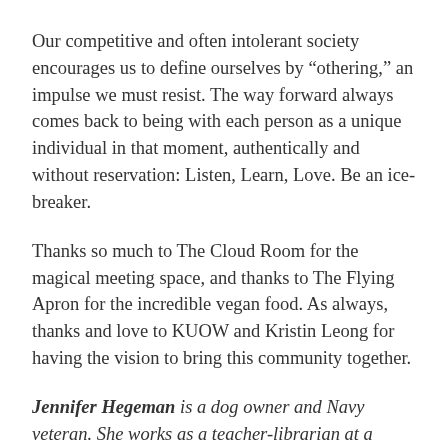Our competitive and often intolerant society encourages us to define ourselves by “othering,” an impulse we must resist. The way forward always comes back to being with each person as a unique individual in that moment, authentically and without reservation: Listen, Learn, Love. Be an ice-breaker.
Thanks so much to The Cloud Room for the magical meeting space, and thanks to The Flying Apron for the incredible vegan food. As always, thanks and love to KUOW and Kristin Leong for having the vision to bring this community together.
Jennifer Hegeman is a dog owner and Navy veteran. She works as a teacher-librarian at a suburban public high school, where she has taught for 29 years. However, for the first 23 of those years Ms. Hegeman was Mr. Hegeman. In 2014, Jenny [Feedback] d from male to female. Today, Jenny